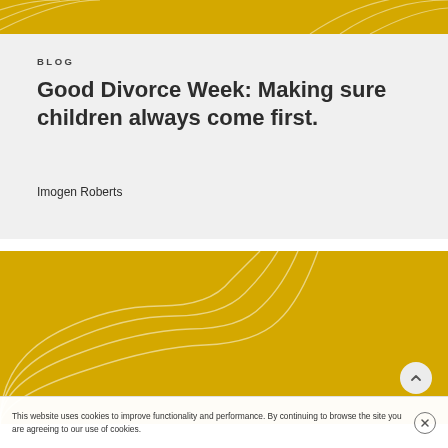[Figure (illustration): Golden yellow banner at top with decorative circular arc lines]
BLOG
Good Divorce Week: Making sure children always come first.
Imogen Roberts
[Figure (illustration): Large golden yellow rectangle with decorative quarter-circle arc lines in lower left corner]
This website uses cookies to improve functionality and performance. By continuing to browse the site you are agreeing to our use of cookies.